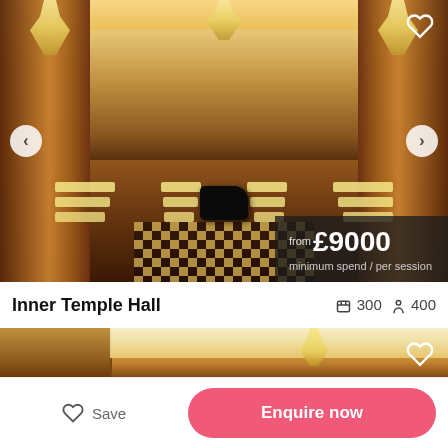[Figure (photo): Interior photo of Inner Temple Hall showing grand dining room with chandeliers, yellow chairs at tables, black piano in center, checkered floor, and ornate wood paneling with portraits. Price overlay: from £9000 minimum spend / per session.]
Inner Temple Hall   🪑 300   🚶 400
[Figure (photo): Partial view of another venue showing wood paneling and chandeliers with bright cream/gold tones.]
Save
Enquire now